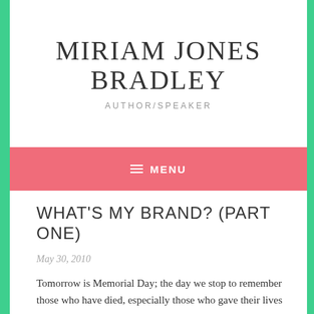MIRIAM JONES BRADLEY
AUTHOR/SPEAKER
≡ MENU
WHAT'S MY BRAND? (PART ONE)
May 30, 2010
Tomorrow is Memorial Day; the day we stop to remember those who have died, especially those who gave their lives to protect our country. In addition to the soldiers, I have several people I remember each year. I remember all of